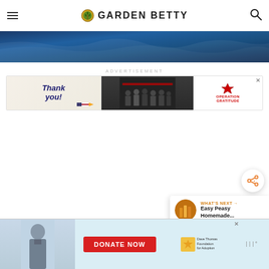GARDEN BETTY
[Figure (photo): Blue ocean/water texture banner image]
ADVERTISEMENT
[Figure (other): Operation Gratitude advertisement banner with 'Thank you!' text, firefighters photo, and Operation Gratitude logo]
[Figure (other): Share button with share icon]
[Figure (other): What's Next panel showing 'Easy Peasy Homemade...' with thumbnail]
[Figure (other): Dave Thomas Foundation for Adoption 'Donate Now' advertisement banner]